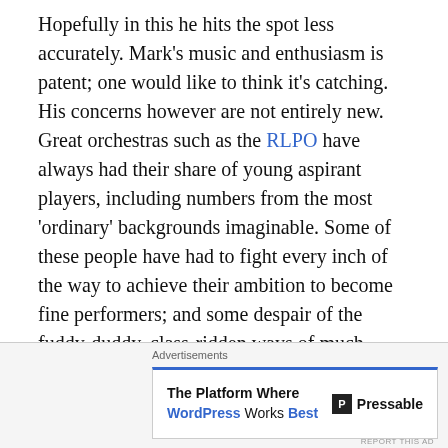Hopefully in this he hits the spot less accurately. Mark's music and enthusiasm is patent; one would like to think it's catching. His concerns however are not entirely new. Great orchestras such as the RLPO have always had their share of young aspirant players, including numbers from the most 'ordinary' backgrounds imaginable. Some of these people have had to fight every inch of the way to achieve their ambition to become fine performers; and some despair of the fuddy-duddy, class-ridden ways of much 'classical' music. Often they are right to feel like this. Sometimes they leave and go off to alternative careers or to other areas of music because of it.
Multi-tasking
Many of the best musicians have come to the...
[Figure (other): Advertisement banner for Pressable: 'The Platform Where WordPress Works Best' with Pressable logo]